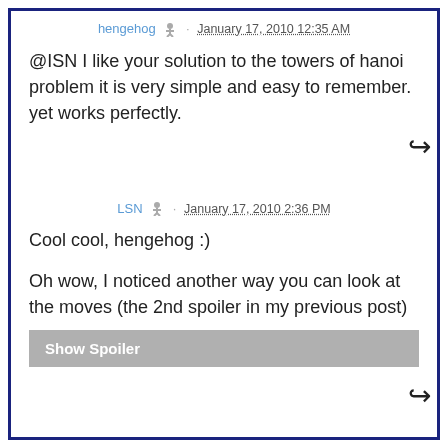hengehog · January 17, 2010 12:35 AM
@ISN I like your solution to the towers of hanoi problem it is very simple and easy to remember.
yet works perfectly.
LSN · January 17, 2010 2:36 PM
Cool cool, hengehog :)

Oh wow, I noticed another way you can look at the moves (the 2nd spoiler in my previous post)
Show Spoiler